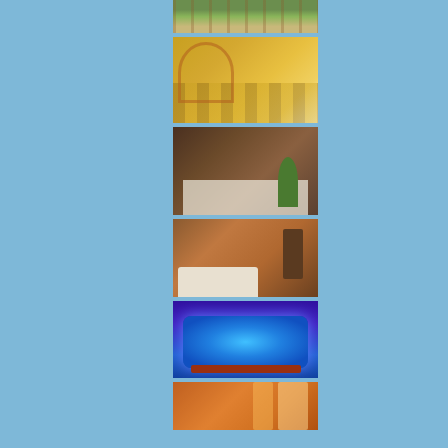[Figure (photo): Outdoor garden or courtyard view of a hotel or guesthouse with green lawn and decorative trees]
[Figure (photo): Restaurant interior with yellow walls, arched windows, checkered floor, wooden tables and chairs]
[Figure (photo): Darker dining room interior with wooden chairs, set table with white tablecloth and plants]
[Figure (photo): Hotel bedroom with a double bed with white bedding, wooden furniture and TV]
[Figure (photo): Jacuzzi or hot tub illuminated with blue/purple LED lights in a dark room]
[Figure (photo): Room interior with orange/warm toned walls and curtained window]